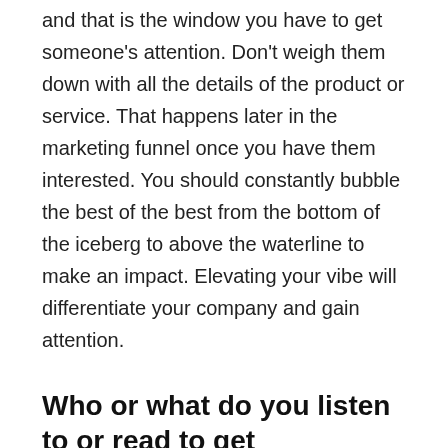and that is the window you have to get someone's attention. Don't weigh them down with all the details of the product or service. That happens later in the marketing funnel once you have them interested. You should constantly bubble the best of the best from the bottom of the iceberg to above the waterline to make an impact. Elevating your vibe will differentiate your company and gain attention.
Who or what do you listen to or read to get inspiration?
I listen to a lot of music. Gene Simmons of Kiss is a branding master and is an excellent inspiration. Kiss's shock and awe, gets your attention and engages you. As